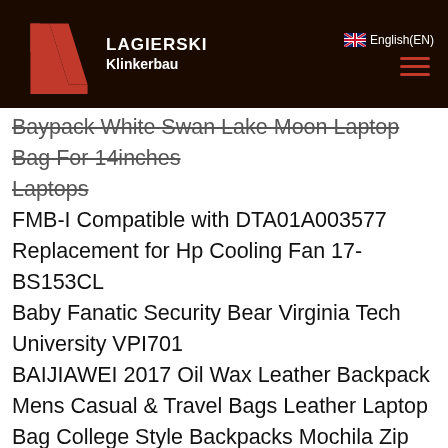LAGIERSKI Klinkerbau — English(EN)
Baypack White Swan Lake Moon Laptop Bag For 14inches Laptops
FMB-I Compatible with DTA01A003577 Replacement for Hp Cooling Fan 17-BS153CL
Baby Fanatic Security Bear Virginia Tech University VPI701
BAIJIAWEI 2017 Oil Wax Leather Backpack Mens Casual & Travel Bags Leather Laptop Bag College Style Backpacks Mochila Zip Men
Host Power with Ferrite Straight Black Honeywell 52-52559-N-3-FR USB Cable Type A
on Board SP485/MAX485 Integrates Pinheaders and Connectors to Support Multiple Communication Interfaces RS485 UART to 485 Module 5V RS485 Communication Board RS485 Transceiver